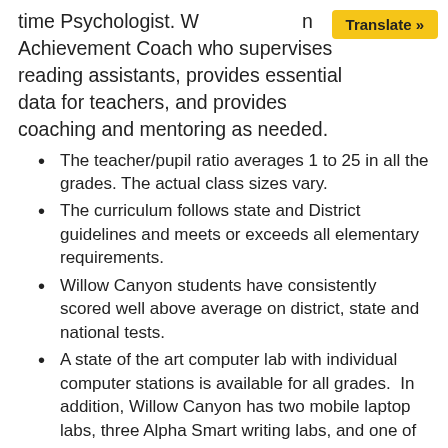time Psychologist. W[...] n Achievement Coach who supervises reading assistants, provides essential data for teachers, and provides coaching and mentoring as needed.
The teacher/pupil ratio averages 1 to 25 in all the grades. The actual class sizes vary.
The curriculum follows state and District guidelines and meets or exceeds all elementary requirements.
Willow Canyon students have consistently scored well above average on district, state and national tests.
A state of the art computer lab with individual computer stations is available for all grades.  In addition, Willow Canyon has two mobile laptop labs, three Alpha Smart writing labs, and one of